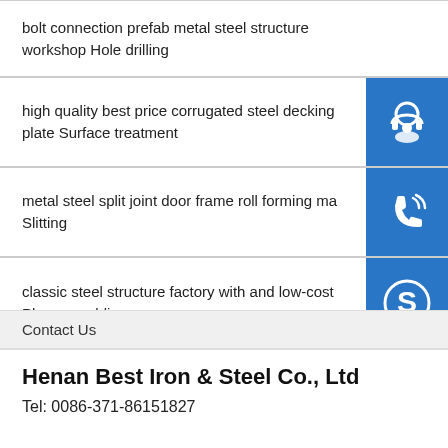bolt connection prefab metal steel structure workshop Hole drilling
high quality best price corrugated steel decking plate Surface treatment
metal steel split joint door frame roll forming ma... Slitting
classic steel structure factory with and low-cost Plasma welding
Contact Us
Henan Best Iron & Steel Co., Ltd
Tel: 0086-371-86151827